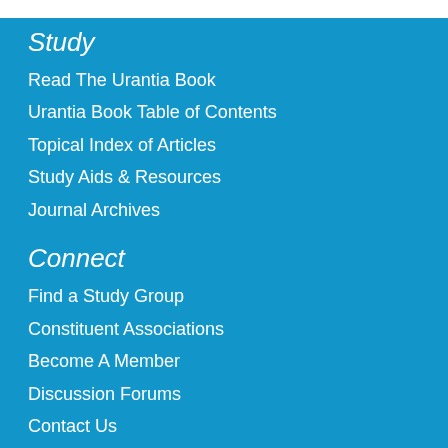Study
Read The Urantia Book
Urantia Book Table of Contents
Topical Index of Articles
Study Aids & Resources
Journal Archives
Connect
Find a Study Group
Constituent Associations
Become A Member
Discussion Forums
Contact Us
News & Events